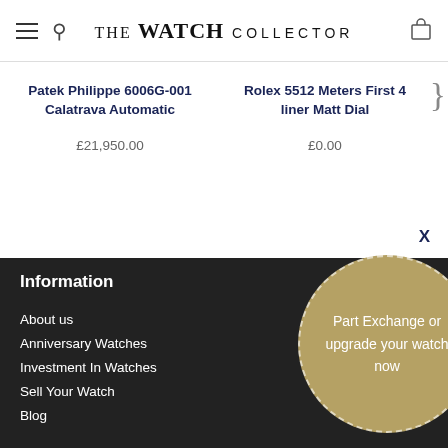THE WATCH COLLECTOR
Patek Philippe 6006G-001 Calatrava Automatic
£21,950.00
Rolex 5512 Meters First 4 liner Matt Dial
£0.00
Information
About us
Anniversary Watches
Investment In Watches
Sell Your Watch
Blog
Part Exchange or upgrade your watch now